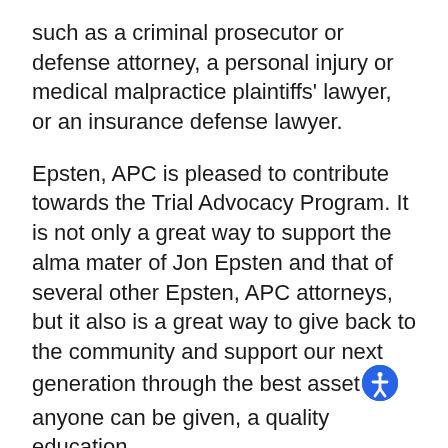such as a criminal prosecutor or defense attorney, a personal injury or medical malpractice plaintiffs' lawyer, or an insurance defense lawyer.
Epsten, APC is pleased to contribute towards the Trial Advocacy Program. It is not only a great way to support the alma mater of Jon Epsten and that of several other Epsten, APC attorneys, but it also is a great way to give back to the community and support our next generation through the best asset anyone can be given, a quality education.
The mission of Thomas Jefferson School of Law is to provide an outstanding legal education for a nationally-based, diverse student body in a collegial and supportive environment with attention to newly emerging areas of law, particularly those related to technological development, globalization and the quest for social justice. Located in Downtown San